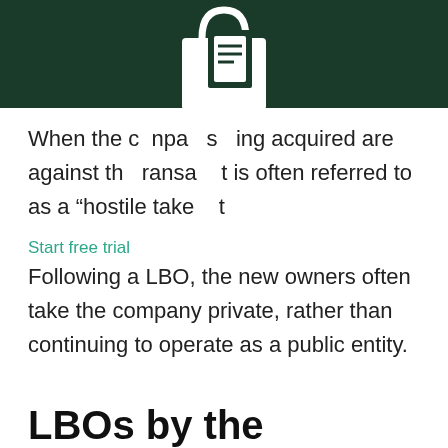[Figure (logo): White shopping bag / document icon on dark green background header bar]
When the c mpa s ing acquired are against th ransa t is often referred to as a “hostile take t
Start free trial
Following a LBO, the new owners often take the company private, rather than continuing to operate as a public entity.
LBOs by the Numbers
To be considered an LBO, the debt-to-equity ratio on acquisition is typically bet...